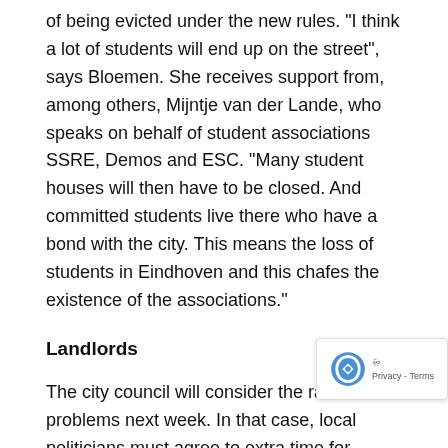of being evicted under the new rules. "I think a lot of students will end up on the street", says Bloemen. She receives support from, among others, Mijntje van der Lande, who speaks on behalf of student associations SSRE, Demos and ESC. "Many student houses will then have to be closed. And committed students live there who have a bond with the city. This means the loss of students in Eindhoven and this chafes the existence of the associations."
Landlords
The city council will consider the raised problems next week. In that case, local politicians must agree to extra time for landlords to convert illegal occupancy into a legal one. They would then have until this year to complete the process.
Private Landlords Eindhoven (BPVE) is happy with this time. "For years there was a lot of confusion about the rules